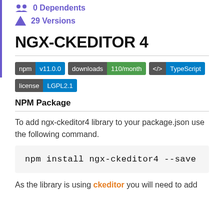0 Dependents
29 Versions
NGX-CKEDITOR 4
npm v11.0.0 | downloads 110/month | </> TypeScript | license LGPL2.1
NPM Package
To add ngx-ckeditor4 library to your package.json use the following command.
npm install ngx-ckeditor4 --save
As the library is using ckeditor you will need to add